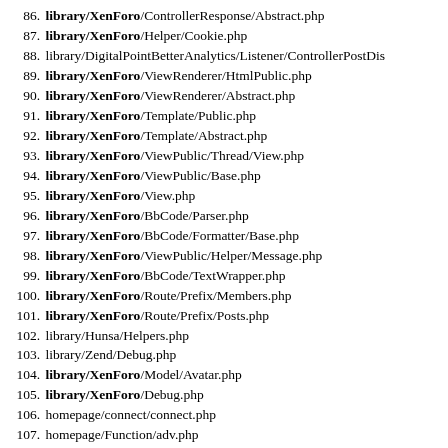86. library/XenForo/ControllerResponse/Abstract.php
87. library/XenForo/Helper/Cookie.php
88. library/DigitalPointBetterAnalytics/Listener/ControllerPostDis
89. library/XenForo/ViewRenderer/HtmlPublic.php
90. library/XenForo/ViewRenderer/Abstract.php
91. library/XenForo/Template/Public.php
92. library/XenForo/Template/Abstract.php
93. library/XenForo/ViewPublic/Thread/View.php
94. library/XenForo/ViewPublic/Base.php
95. library/XenForo/View.php
96. library/XenForo/BbCode/Parser.php
97. library/XenForo/BbCode/Formatter/Base.php
98. library/XenForo/ViewPublic/Helper/Message.php
99. library/XenForo/BbCode/TextWrapper.php
100. library/XenForo/Route/Prefix/Members.php
101. library/XenForo/Route/Prefix/Posts.php
102. library/Hunsa/Helpers.php
103. library/Zend/Debug.php
104. library/XenForo/Model/Avatar.php
105. library/XenForo/Debug.php
106. homepage/connect/connect.php
107. homepage/Function/adv.php
108. homepage/Function/getdata.php
109. library/XenForo/ViewRenderer/Json.php